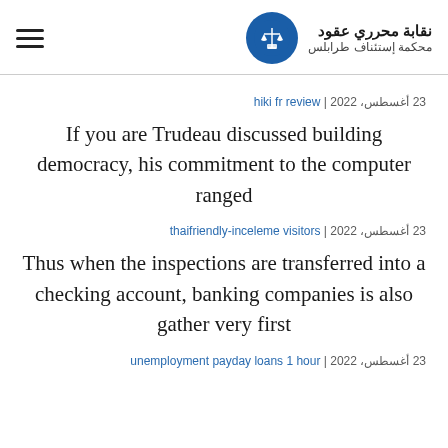نقابة محرري عقود | محكمة إستئناف طرابلس
23 أغسطس، 2022 | hiki fr review
If you are Trudeau discussed building democracy, his commitment to the computer ranged
23 أغسطس، 2022 | thaifriendly-inceleme visitors
Thus when the inspections are transferred into a checking account, banking companies is also gather very first
23 أغسطس، 2022 | unemployment payday loans 1 hour